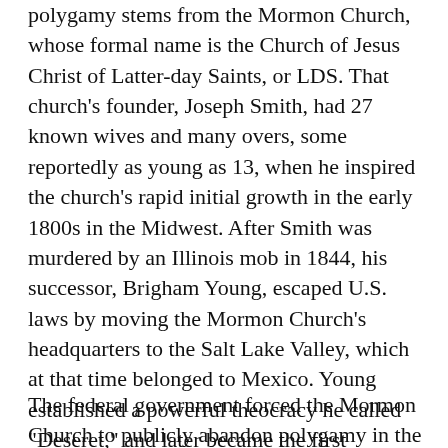polygamy stems from the Mormon Church, whose formal name is the Church of Jesus Christ of Latter-day Saints, or LDS. That church's founder, Joseph Smith, had 27 known wives and many overs, some reportedly as young as 13, when he inspired the church's rapid initial growth in the early 1800s in the Midwest. After Smith was murdered by an Illinois mob in 1844, his successor, Brigham Young, escaped U.S. laws by moving the Mormon Church's headquarters to the Salt Lake Valley, which at that time belonged to Mexico. Young established a powerful theocracy he called "Deseret," and later became the first governor of the federally recognized Utah Territory. He took more than 50 wives and proclaimed that "any man who denied plural marriage was damned."
The federal government forced the Mormon Church to publicly abandon polygamy in the